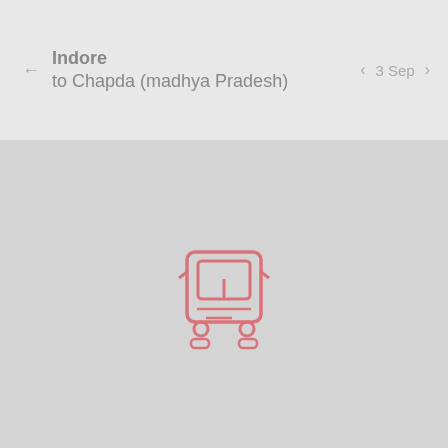Indore to Chapda (madhya Pradesh)  ‹ 3 Sep ›
[Figure (illustration): A pink/red outlined bus icon centered in a gray area, representing no results found for the bus route search.]